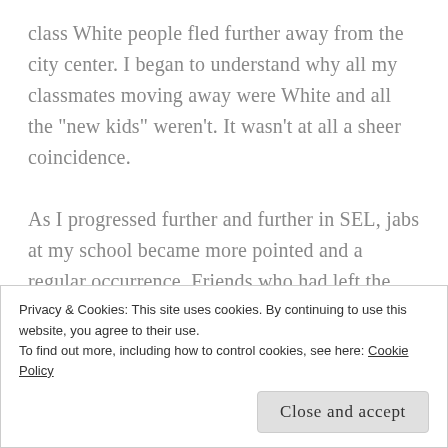class White people fled further away from the city center. I began to understand why all my classmates moving away were White and all the "new kids" weren't. It wasn't at all a sheer coincidence.

As I progressed further and further in SEL, jabs at my school became more pointed and a regular occurrence. Friends who had left the district or went to private schools would tell me that I went to a "ghetto" and "dangerous" school. Often times they were simply regurgitating what the adults in their lives had told them. Work colleagues or general
Privacy & Cookies: This site uses cookies. By continuing to use this website, you agree to their use.
To find out more, including how to control cookies, see here: Cookie Policy
Close and accept